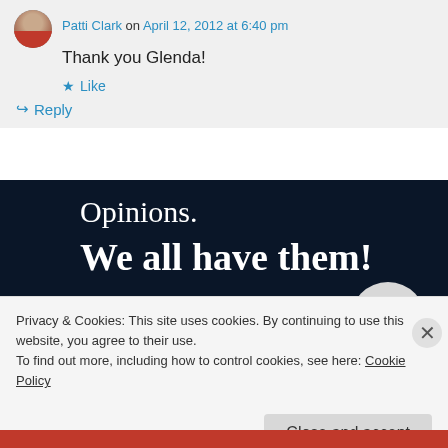Patti Clark on April 12, 2012 at 6:40 pm
Thank you Glenda!
★ Like
↳ Reply
[Figure (illustration): Dark navy background banner with text 'Opinions. We all have them!' in white serif font, a pink bar at bottom left, a light grey circle at bottom right.]
Privacy & Cookies: This site uses cookies. By continuing to use this website, you agree to their use.
To find out more, including how to control cookies, see here: Cookie Policy
Close and accept